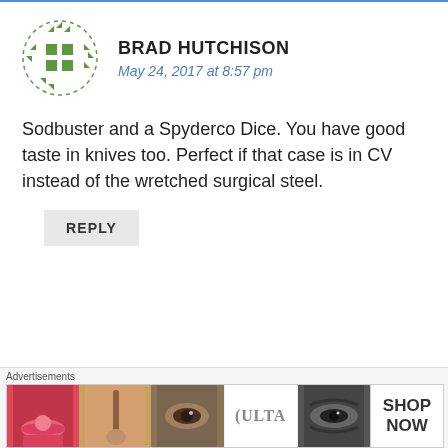[Figure (illustration): Green geometric avatar icon for user Brad Hutchison, circular dashed border with green arrow and square shapes]
BRAD HUTCHISON
May 24, 2017 at 8:57 pm
Sodbuster and a Spyderco Dice. You have good taste in knives too. Perfect if that case is in CV instead of the wretched surgical steel.
REPLY
[Figure (illustration): Gray semicircle avatar for user EDIELLEY]
EDIELLEY
[Figure (screenshot): Ulta Beauty advertisement banner showing makeup/cosmetics images with SHOP NOW text]
Advertisements